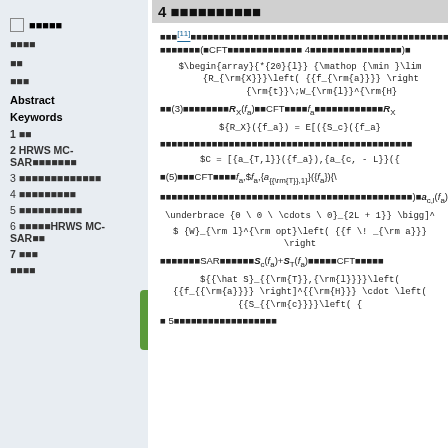□ ■■■■■
■■■■
■■
■■■
Abstract
Keywords
1 ■■
2 HRWS MC-SAR■■■■■■■
3 ■■■■■■■■■■■■■
4 ■■■■■■■■■
5 ■■■■■■■■■■
6 ■■■■■HRWS MC-SAR■■
7 ■■■
■■■■
4 ■■■■■■■■■■
■■■[11]■■■■■■■■■■■■■■■■■■■■■■■■■■■■■■■■■■■■■■■■■■■(■CFT■■■■■■■■■■■■■ 4■■■■■■■■■■■■■■■■)■
■■(3)■■■■■■■■R_X(f_a)■■CFT■■■■f_a■■■■■■■■■■■■R_X
■■■■■■■■■■■■■■■■■■■■■■■■■■■■■■■■■■■■■■■■■■■■
■(5)■■■CFT■■■■f_a,$f_a},{a_{{\rm{T}},1}}({f_a}){\
■■■■■■■■■■■■■■■■■■■■■■■■■■■■■■■■■■■■■■■■■■■■)■a_{c,l}(f_a)■■
■■■■■■■SAR■■■■■■S_c(f_a)+S_T(f_a)■■■■■CFT■■■■■
■ 5■■■■■■■■■■■■■■■■■■